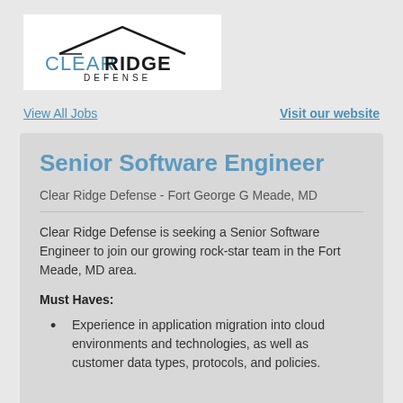[Figure (logo): Clear Ridge Defense logo with roof/house shape above text CLEARRIDGE DEFENSE]
View All Jobs
Visit our website
Senior Software Engineer
Clear Ridge Defense - Fort George G Meade, MD
Clear Ridge Defense is seeking a Senior Software Engineer to join our growing rock-star team in the Fort Meade, MD area.
Must Haves:
Experience in application migration into cloud environments and technologies, as well as customer data types, protocols, and policies.